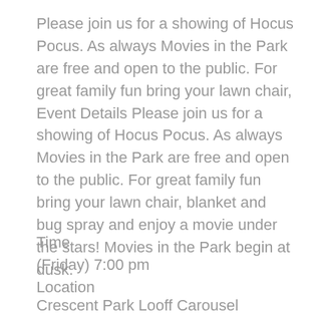Please join us for a showing of Hocus Pocus. As always Movies in the Park are free and open to the public. For great family fun bring your lawn chair, Event Details Please join us for a showing of Hocus Pocus. As always Movies in the Park are free and open to the public. For great family fun bring your lawn chair, blanket and bug spray and enjoy a movie under the stars! Movies in the Park begin at dusk.
Time
(Friday) 7:00 pm
Location
Crescent Park Looff Carousel